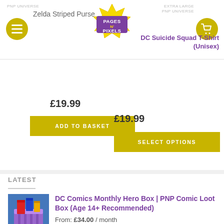[Figure (logo): Pages N Pixels logo — comic-style text in purple and yellow star burst]
Zelda Striped Purse
£19.99
ADD TO BASKET
Extra Large
PNP UNIVERSE
DC Suicide Squad T-Shirt (Unisex)
£19.99
SELECT OPTIONS
LATEST
[Figure (photo): DC Comics Monthly Hero Box product thumbnail — blue striped box with comic books]
DC Comics Monthly Hero Box | PNP Comic Loot Box (Age 14+ Recommended)
From: £34.00 / month